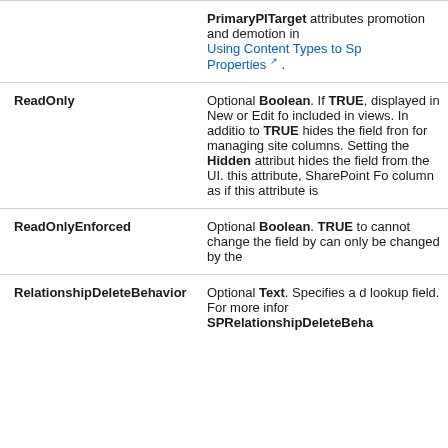| Attribute | Description |
| --- | --- |
|  | PrimaryPITarget attributes promotion and demotion in Using Content Types to Specify Properties. |
| ReadOnly | Optional Boolean. If TRUE, displayed in New or Edit forms, included in views. In addition, to TRUE hides the field from for managing site columns. Setting the Hidden attribute hides the field from the UI. this attribute, SharePoint Foundation column as if this attribute is |
| ReadOnlyEnforced | Optional Boolean. TRUE to cannot change the field by can only be changed by the |
| RelationshipDeleteBehavior | Optional Text. Specifies a delete lookup field. For more information SPRelationshipDeleteBehavior |